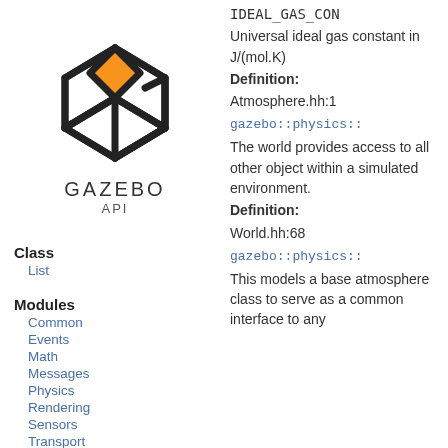[Figure (logo): Gazebo API logo: geometric 3D box shape with orange diamond top face and black outlines, with text GAZEBO API below]
Class
List
Modules
Common
Events
Math
Messages
Physics
Rendering
Sensors
Transport
Links
IDEAL_GAS_CON Universal ideal gas constant in J/(mol.K) Definition: Atmosphere.hh:1 gazebo::physics:: The world provides access to all other object within a simulated environment. Definition: World.hh:68 gazebo::physics:: This models a base atmosphere class to serve as a common interface to any